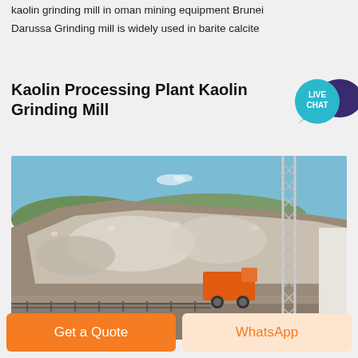kaolin grinding mill in oman mining equipment Brunei
Darussa Grinding mill is widely used in barite calcite
Kaolin Processing Plant Kaolin Grinding Mill
[Figure (photo): Outdoor photograph of a large kaolin or rock processing site showing a massive pile of white and grey rocks/minerals against a blue sky, with a metal lattice tower/mast on the right side and an orange truck visible at the base of the pile. A metal fence is visible in the foreground.]
Get a Quote
WhatsApp